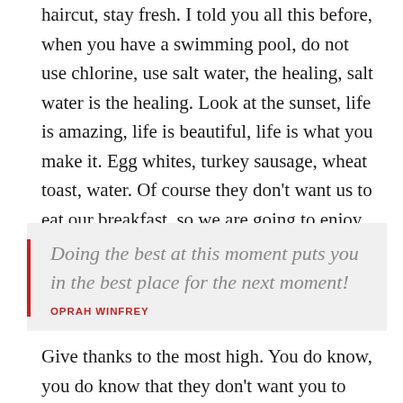haircut, stay fresh. I told you all this before, when you have a swimming pool, do not use chlorine, use salt water, the healing, salt water is the healing. Look at the sunset, life is amazing, life is beautiful, life is what you make it. Egg whites, turkey sausage, wheat toast, water. Of course they don't want us to eat our breakfast, so we are going to enjoy our breakfast.
Doing the best at this moment puts you in the best place for the next moment! OPRAH WINFREY
Give thanks to the most high. You do know, you do know that they don't want you to have lunch. I'm keeping it real with you, so what you going do is have lunch. Another one.